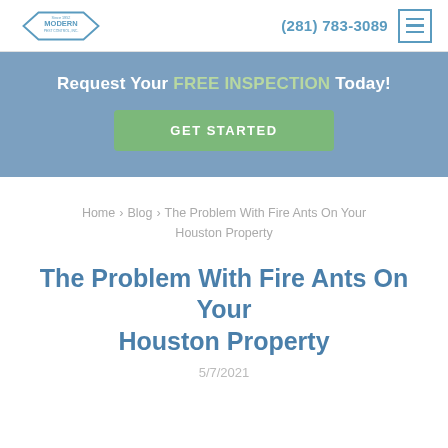[Figure (logo): Modern Pest Control Inc. diamond-shaped logo with text 'Since 1952 MODERN PEST CONTROL, INC.']
(281) 783-3089
Request Your FREE INSPECTION Today!
GET STARTED
Home › Blog › The Problem With Fire Ants On Your Houston Property
The Problem With Fire Ants On Your Houston Property
5/7/2021